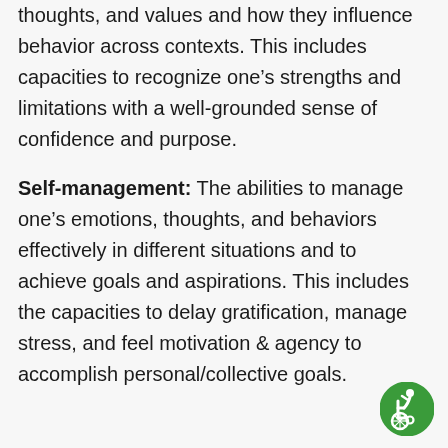thoughts, and values and how they influence behavior across contexts. This includes capacities to recognize one's strengths and limitations with a well-grounded sense of confidence and purpose.
Self-management: The abilities to manage one's emotions, thoughts, and behaviors effectively in different situations and to achieve goals and aspirations. This includes the capacities to delay gratification, manage stress, and feel motivation & agency to accomplish personal/collective goals.
[Figure (illustration): Green circular accessibility icon showing a person in a wheelchair]